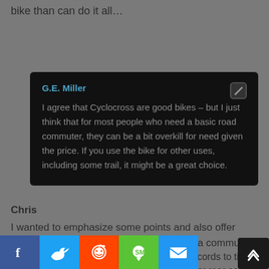bike than can do it all…
G.E. Miller
I agree that Cyclocross are good bikes – but I just think that for most people who need a basic road commuter, they can be a bit overkill for need given the price. If you use the bike for other uses, including some trail, it might be a great choice.
Chris
I wanted to emphasize some points and also offer further points to think about when buying a commuter:
– Look at flat rear racks with straps/bungee cords to tie you...
– Consider purchasing baskets for the front or rear so you